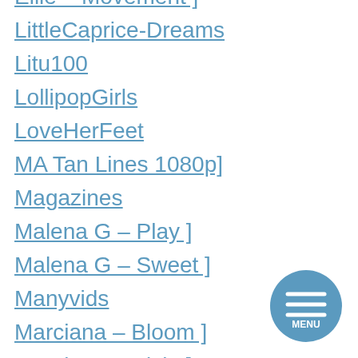Ellie – Movement ]
LittleCaprice-Dreams
Litu100
LollipopGirls
LoveHerFeet
MA Tan Lines 1080p]
Magazines
Malena G – Play ]
Malena G – Sweet ]
Manyvids
Marciana – Bloom ]
Marciana – Pixie ]
Mary
[Figure (other): Circular menu button with three horizontal white lines and MENU text on blue background]